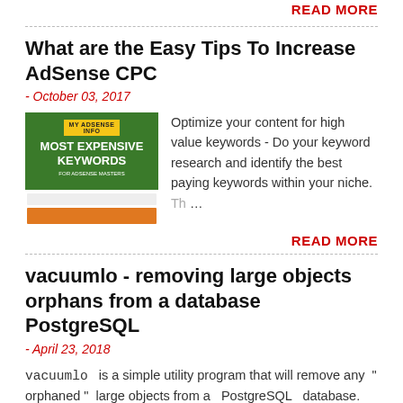READ MORE
What are the Easy Tips To Increase AdSense CPC
- October 03, 2017
[Figure (illustration): Green background image showing 'Most Expensive Keywords' title with a search bar and orange button below on white area]
Optimize your content for high value keywords - Do your keyword research and identify the best paying keywords within your niche. Th…
READ MORE
vacuumlo - removing large objects orphans from a database PostgreSQL
- April 23, 2018
vacuumlo   is a simple utility program that will remove any " orphaned " large objects from a PostgreSQL database. An